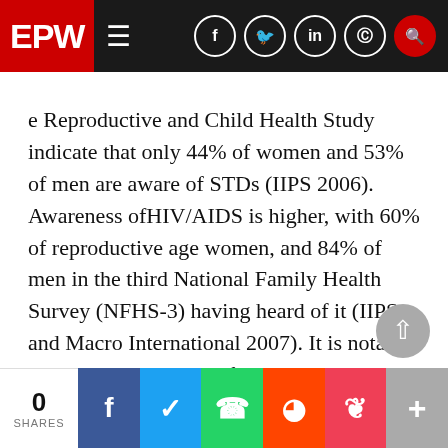EPW
e Reproductive and Child Health Study indicate that only 44% of women and 53% of men are aware of STDs (IIPS 2006). Awareness ofHIV/AIDS is higher, with 60% of reproductive age women, and 84% of men in the third National Family Health Survey (NFHS-3) having heard of it (IIPS and Macro International 2007). It is notable that while awareness of HIV/AIDS is higher among younger women and men, the young-est age group is the least likely to know about STDs. HIV/AIDS, which has received much attention in the media, is better known asSTDs in general. Premarital sexual activity in a society which sanctions against it
0 SHARES